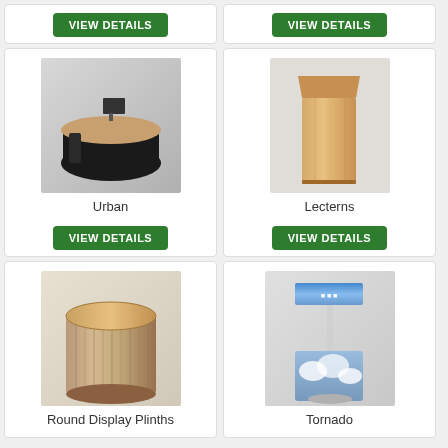[Figure (photo): Top-left card showing VIEW DETAILS button only (product above visible area)]
[Figure (photo): Top-right card showing VIEW DETAILS button only (product above visible area)]
[Figure (photo): Urban - black oval reception/display counter with monitor on top]
Urban
[Figure (photo): Lecterns - tall wooden lectern/podium in beige/tan wood finish]
Lecterns
[Figure (photo): Round Display Plinths - cylindrical display plinth with wooden top]
Round Display Plinths
[Figure (photo): Tornado - tall slim banner/display stand with printed graphic]
Tornado